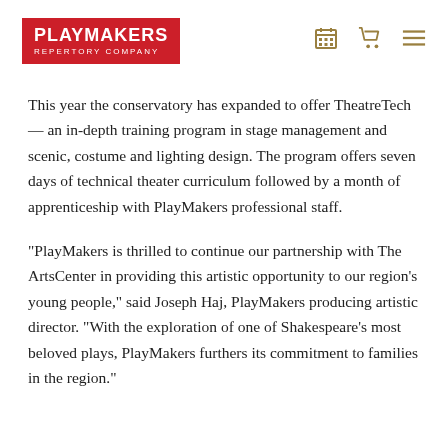PLAYMAKERS REPERTORY COMPANY
This year the conservatory has expanded to offer TheatreTech — an in-depth training program in stage management and scenic, costume and lighting design. The program offers seven days of technical theater curriculum followed by a month of apprenticeship with PlayMakers professional staff.
“PlayMakers is thrilled to continue our partnership with The ArtsCenter in providing this artistic opportunity to our region’s young people,” said Joseph Haj, PlayMakers producing artistic director. “With the exploration of one of Shakespeare’s most beloved plays, PlayMakers furthers its commitment to families in the region.”